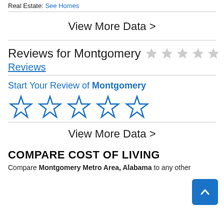Real Estate: See Homes
View More Data >
Reviews for Montgomery ☆☆☆☆☆ 0 Reviews
Start Your Review of Montgomery ☆☆☆☆☆
View More Data >
COMPARE COST OF LIVING
Compare Montgomery Metro Area, Alabama to any other